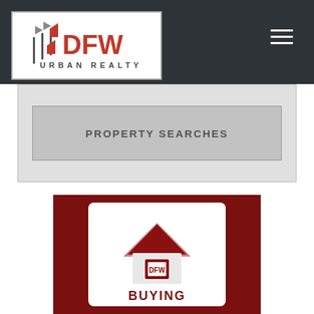[Figure (logo): DFW Urban Realty logo with stylized flags and red DFW text on white background]
PROPERTY SEARCHES
[Figure (illustration): Red background card with white rounded rectangle containing a house icon with DFW logo and BUYING text in dark red]